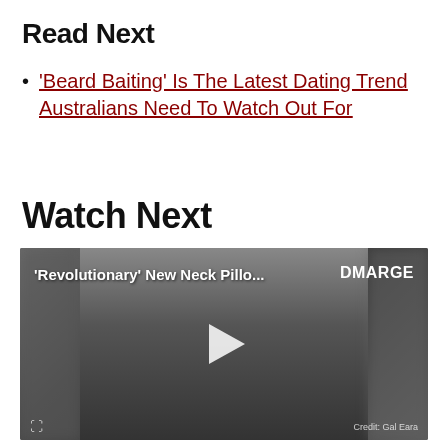Read Next
‘Beard Baiting’ Is The Latest Dating Trend Australians Need To Watch Out For
Watch Next
[Figure (screenshot): Video thumbnail showing a man in a dark hoodie with text overlay '‘Revolutionary’ New Neck Pillo...' and DMARGE logo in top right, with a play button in center and credit 'Credit: Gal Eara' at bottom right.]